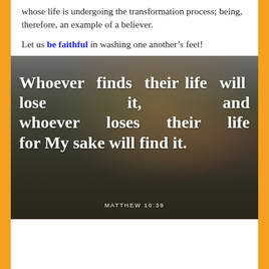whose life is undergoing the transformation process; being, therefore, an example of a believer.
Let us be faithful in washing one another's feet!
[Figure (photo): A person standing in a sunlit outdoor scene with trees, overlaid with white serif text quoting Matthew 10:39: 'Whoever finds their life will lose it, and whoever loses their life for My sake will find it.' with attribution MATTHEW 10:39 at the bottom.]